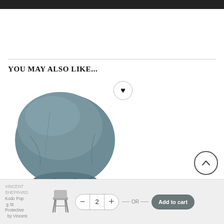YOU MAY ALSO LIKE...
[Figure (photo): A grey/slate-blue protective furniture cover for a round chair, bunched at the bottom with a drawstring, shown against a white background.]
VINCENT SHEPPARD Kodo Pop Swing String Protective Cover by Vincent
- 2 + — OR — Add to cart